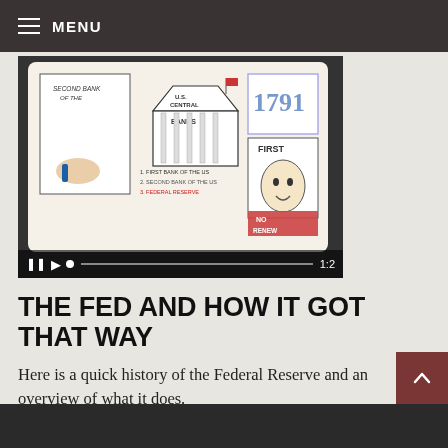MENU
[Figure (screenshot): Video thumbnail showing a whiteboard illustration of U.S. Central Banks history including text 'Second Bank of the US', 'U.S. Central Banks', '1791', 'First Bank of the US', 'Federal Reserve', 'No Renew', with a hand holding a blue marker drawing. Video player controls visible at bottom showing pause, play buttons, a scrubber bar, and timestamp '1:2'.]
THE FED AND HOW IT GOT THAT WAY
Here is a quick history of the Federal Reserve and an overview of what it does.